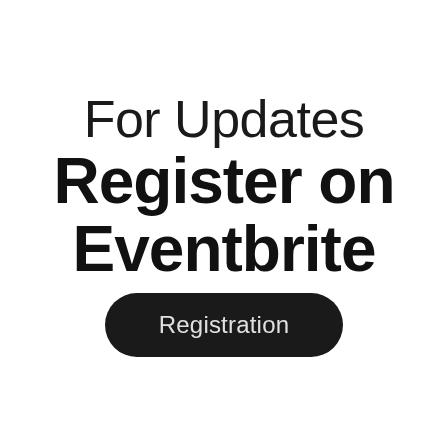For Updates
Register on Eventbrite
Registration